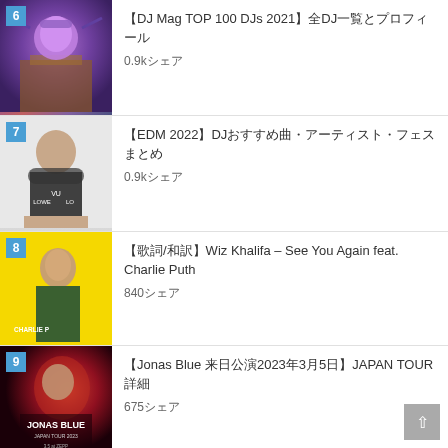【DJ Mag TOP 100 DJs 2021】全DJ一覧とプロフィール
0.9kシェア
【EDM 2022】DJおすすめ曲・アーティスト・フェスまとめ
0.9kシェア
歌詞/和訳】Wiz Khalifa – See You Again feat. Charlie Puth
840シェア
【Jonas Blue 来日公演2023年3月5日】JAPAN TOUR詳細
675シェア